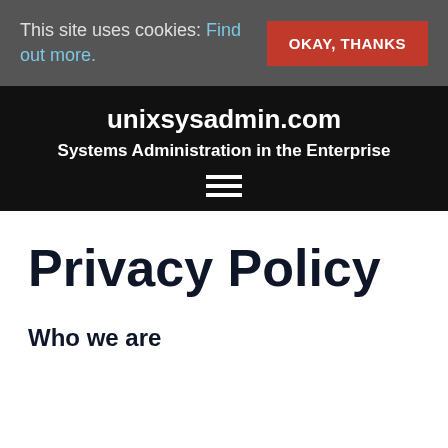This site uses cookies: Find out more.
OKAY, THANKS
unixsysadmin.com
Systems Administration in the Enterprise
Privacy Policy
Who we are